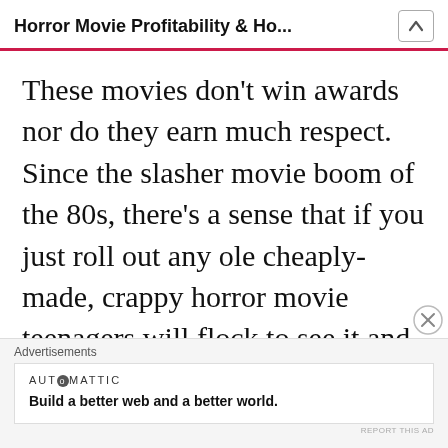Horror Movie Profitability & Ho...
These movies don't win awards nor do they earn much respect. Since the slasher movie boom of the 80s, there's a sense that if you just roll out any ole cheaply-made, crappy horror movie teenagers will flock to see it and guarantee a nice return on investment. Of course, that viewpoint
Advertisements
AUTOMATTIC
Build a better web and a better world.